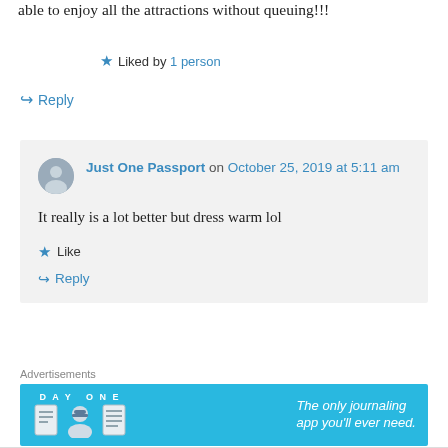able to enjoy all the attractions without queuing!!!
Liked by 1 person
↳ Reply
Just One Passport on October 25, 2019 at 5:11 am
It really is a lot better but dress warm lol
★ Like
↳ Reply
Advertisements
[Figure (other): DAY ONE journaling app advertisement banner — blue background with app icons and text 'The only journaling app you'll ever need.']
REPORT THIS AD